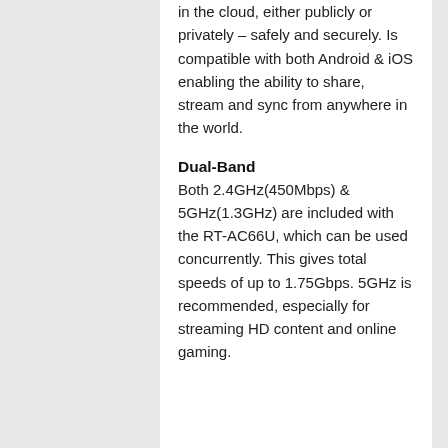in the cloud, either publicly or privately – safely and securely. Is compatible with both Android & iOS enabling the ability to share, stream and sync from anywhere in the world.
Dual-Band
Both 2.4GHz(450Mbps) & 5GHz(1.3GHz) are included with the RT-AC66U, which can be used concurrently. This gives total speeds of up to 1.75Gbps. 5GHz is recommended, especially for streaming HD content and online gaming.
Exceptional Coverage with AiRadar
AiRadar automatically adjusts wireless